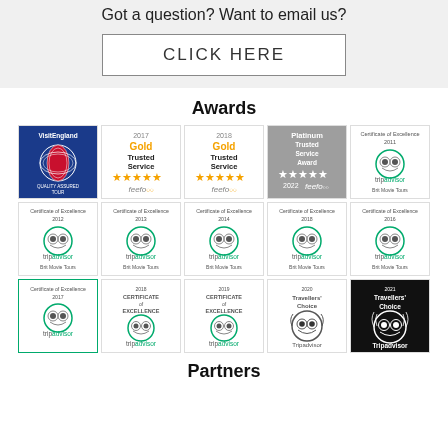Got a question? Want to email us?
CLICK HERE
Awards
[Figure (illustration): Award badges row 1: Visit England Quality Assured Tour badge, Feefo 2017 Gold Trusted Service 5-star badge, Feefo 2018 Gold Trusted Service 5-star badge, Feefo 2022 Platinum Trusted Service Award 5-star badge, TripAdvisor Certificate of Excellence 2011 Brit Movie Tours]
[Figure (illustration): Award badges row 2: TripAdvisor Certificate of Excellence 2012, 2013, 2014, 2018, 2016 Brit Movie Tours]
[Figure (illustration): Award badges row 3: TripAdvisor Certificate of Excellence 2017, TripAdvisor 2018 Certificate of Excellence, TripAdvisor 2019 Certificate of Excellence, TripAdvisor 2020 Travellers Choice, TripAdvisor 2021 Travellers Choice]
Partners